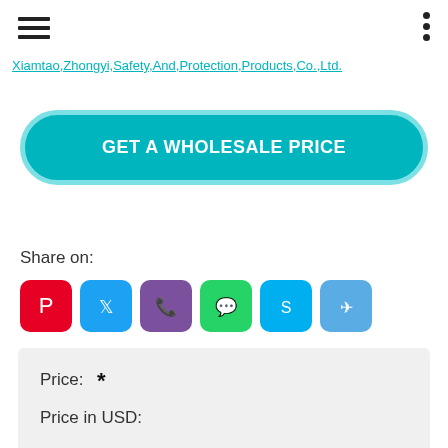Xiamtao,Zhongyi,Safety,And,Protection,Products,Co.,Ltd.
GET A WHOLESALE PRICE
Share on:
[Figure (infographic): Social media share icons: Pinterest (red), Twitter (blue), Viber (purple), WhatsApp (green), Skype (light blue), Telegram (light blue)]
| Field | Value |
| --- | --- |
| Price: | * |
| Price in USD: |  |